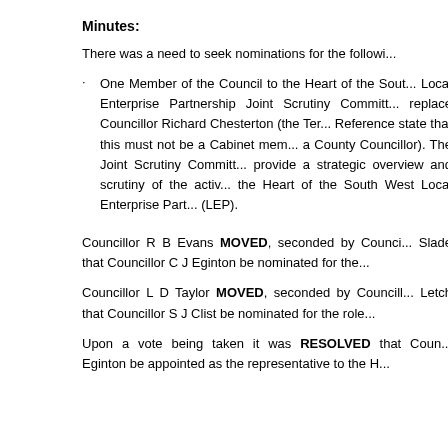Minutes:
There was a need to seek nominations for the followi...
One Member of the Council to the Heart of the South West Local Enterprise Partnership Joint Scrutiny Committee to replace Councillor Richard Chesterton (the Terms of Reference state that this must not be a Cabinet member but a County Councillor). The Joint Scrutiny Committee provide a strategic overview and scrutiny of the activities of the Heart of the South West Local Enterprise Partnership (LEP).
Councillor R B Evans MOVED, seconded by Councillor Slade that Councillor C J Eginton be nominated for the role.
Councillor L D Taylor MOVED, seconded by Councillor Letch that Councillor S J Clist be nominated for the role.
Upon a vote being taken it was RESOLVED that Councillor Eginton be appointed as the representative to the H...